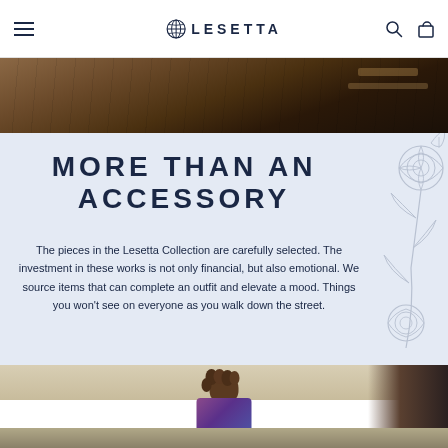LESETTA navigation bar with hamburger menu, logo, search and cart icons
[Figure (photo): Top partial photo showing a dark wooden surface, likely a desk or table, with warm amber/brown tones]
MORE THAN AN ACCESSORY
The pieces in the Lesetta Collection are carefully selected. The investment in these works is not only financial, but also emotional. We source items that can complete an outfit and elevate a mood. Things you won't see on everyone as you walk down the street.
[Figure (photo): Bottom partial photo showing a person with curly hair from behind, wearing a colorful outfit, in a light-colored room]